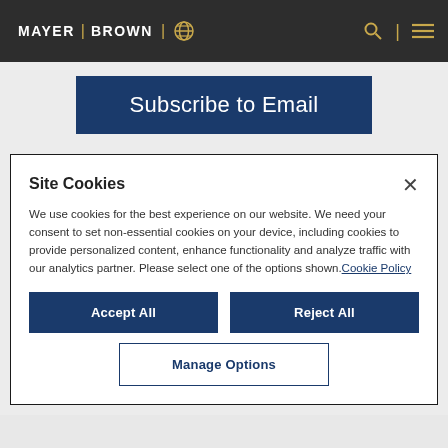MAYER | BROWN
Subscribe to Email
Site Cookies
We use cookies for the best experience on our website. We need your consent to set non-essential cookies on your device, including cookies to provide personalized content, enhance functionality and analyze traffic with our analytics partner. Please select one of the options shown. Cookie Policy
Accept All
Reject All
Manage Options